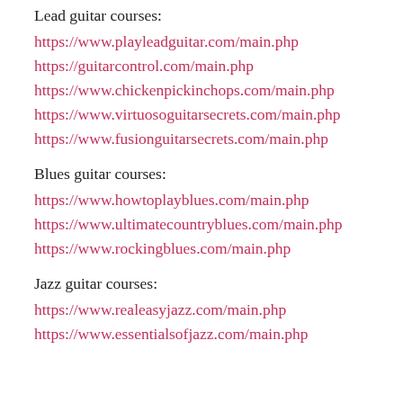Lead guitar courses:
https://www.playleadguitar.com/main.php
https://guitarcontrol.com/main.php
https://www.chickenpickinchops.com/main.php
https://www.virtuosoguitarsecrets.com/main.php
https://www.fusionguitarsecrets.com/main.php
Blues guitar courses:
https://www.howtoplayblues.com/main.php
https://www.ultimatecountryblues.com/main.php
https://www.rockingblues.com/main.php
Jazz guitar courses:
https://www.realeasyjazz.com/main.php
https://www.essentialsofjazz.com/main.php